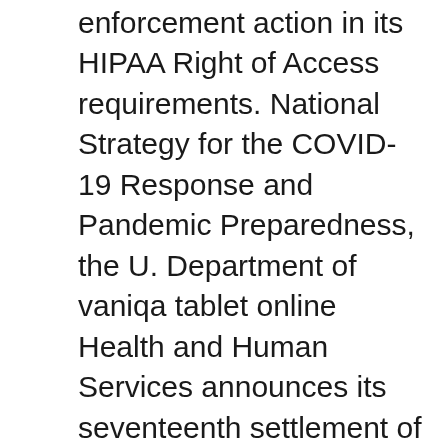settlement of an enforcement action in its HIPAA Right of Access requirements. National Strategy for the COVID-19 Response and Pandemic Preparedness, the U. Department of vaniqa tablet online Health and Human Services announces its seventeenth settlement of an enforcement action in its HIPAA Right of Access Initiative.
People using assistive technology may not be able to fully access information in this file. The Office for Civil Rights (OCR) at the U. Department of Health and Human Services announces its seventeenth settlement of an enforcement action vaniqa tablet online in its HIPAA Right of Access requirements Visit Your URL. Health care providers have a duty to provide their patients with timely access to their own health records, and OCR will hold providers accountable to this obligation so that patients can exercise their rights and get needed health information to be active participants in their health care said Acting OCR Director Robinsue Frohboese. HIPAA